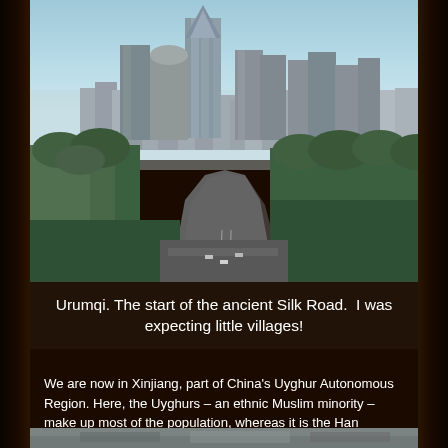[Figure (photo): Aerial/elevated view of Urumqi city skyline with tall modern skyscrapers, a prominent glass tower in the center, a wide multi-lane highway cutting through forested green areas in the foreground, blue sky above.]
Urumqi. The start of the ancient Silk Road.  I was expecting little villages!
We are now in Xinjiang, part of China's Uyghur Autonomous Region. Here, the Uyghurs – an ethnic Muslim minority – make up most of the population, whereas it is the Han Chinese that make up over 90% of China's 1.3 billion people.
[Figure (photo): Bottom strip of a second photo, partially visible at the bottom of the page.]